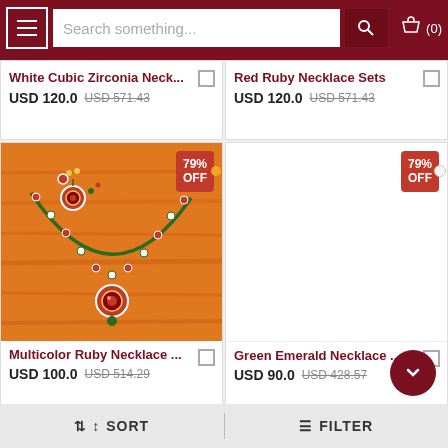[Figure (screenshot): E-commerce jewelry store mobile app header with hamburger menu, search bar, search button, and cart icon showing (0)]
White Cubic Zirconia Neck...
USD 120.0  USD 571.43
Red Ruby  Necklace Sets
USD 120.0  USD 571.43
[Figure (photo): Multicolor ruby necklace set with earrings on orange background, showing 79% OFF badge]
Multicolor Ruby  Necklace ...
USD 100.0  USD 514.29
Green Emerald  Necklace ...
USD 90.0  USD 428.57
⇅ ↕ SORT
☰ FILTER